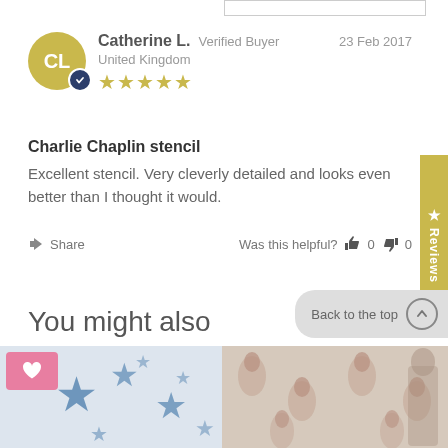Catherine L.  Verified Buyer  23 Feb 2017
United Kingdom
★★★★★
Charlie Chaplin stencil
Excellent stencil. Very cleverly detailed and looks even better than I thought it would.
Share   Was this helpful?  👍 0  👎 0
You might also
[Figure (photo): Product image showing blue stars pattern on white background with pink heart/wishlist button]
[Figure (photo): Product image showing repeated portrait/face pattern in pinkish-brown tones on light background]